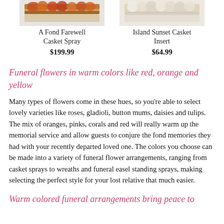[Figure (photo): Product image of A Fond Farewell Casket Spray - brown/orange flower arrangement on casket]
A Fond Farewell Casket Spray
$199.99
[Figure (photo): Product image of Island Sunset Casket Insert - light/cream colored flower arrangement]
Island Sunset Casket Insert
$64.99
Funeral flowers in warm colors like red, orange and yellow
Many types of flowers come in these hues, so you're able to select lovely varieties like roses, gladioli, button mums, daisies and tulips. The mix of oranges, pinks, corals and red will really warm up the memorial service and allow guests to conjure the fond memories they had with your recently departed loved one. The colors you choose can be made into a variety of funeral flower arrangements, ranging from casket sprays to wreaths and funeral easel standing sprays, making selecting the perfect style for your lost relative that much easier.
Warm colored funeral arrangements bring peace to